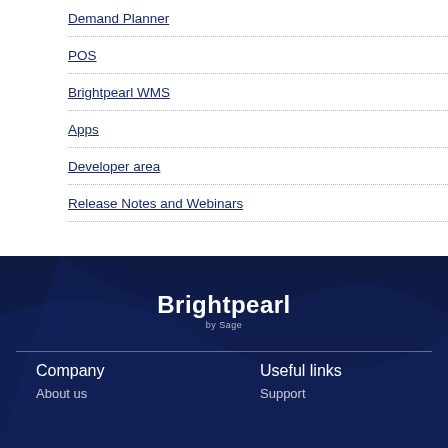Demand Planner
POS
Brightpearl WMS
Apps
Developer area
Release Notes and Webinars
[Figure (logo): Brightpearl by Sage logo in white on dark navy background]
Company
Useful links
About us
Support